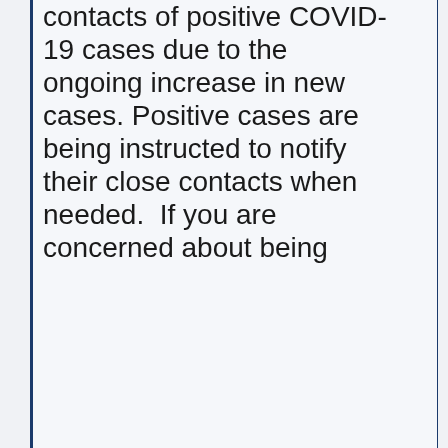contacts of positive COVID-19 cases due to the ongoing increase in new cases. Positive cases are being instructed to notify their close contacts when needed.  If you are concerned about being